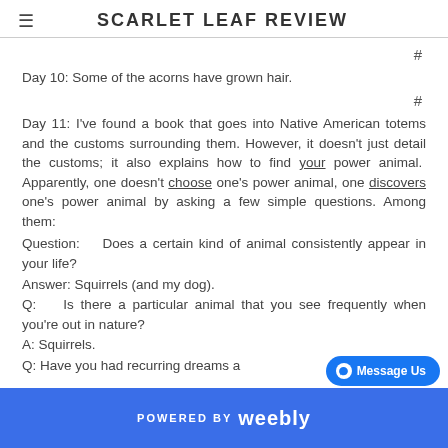SCARLET LEAF REVIEW
#
Day 10:  Some of the acorns have grown hair.
#
Day 11:  I've found a book that goes into Native American totems and the customs surrounding them.  However, it doesn't just detail the customs; it also explains how to find your power animal.  Apparently, one doesn't choose one's power animal, one discovers one's power animal by asking a few simple questions.  Among them:
Question:   Does a certain kind of animal consistently appear in your life?
Answer:  Squirrels (and my dog).
Q:   Is there a particular animal that you see frequently when you're out in nature?
A:  Squirrels.
Q:  Have you had recurring dreams a...
POWERED BY weebly